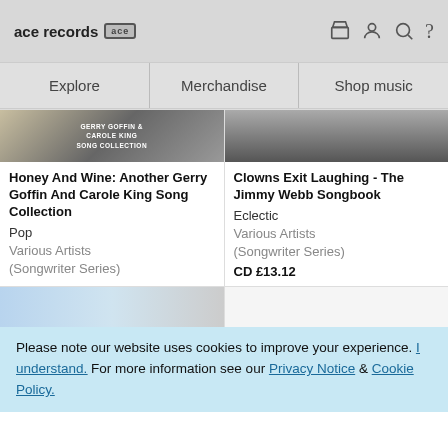ace records [ace logo]
Explore | Merchandise | Shop music
[Figure (photo): Album cover image for Honey And Wine: Another Gerry Goffin And Carole King Song Collection showing text 'GERRY GOFFIN & CAROLE KING SONG COLLECTION']
Honey And Wine: Another Gerry Goffin And Carole King Song Collection
Pop
Various Artists (Songwriter Series)
[Figure (photo): Album cover image for Clowns Exit Laughing - The Jimmy Webb Songbook showing a close-up black and white instrument photo]
Clowns Exit Laughing - The Jimmy Webb Songbook
Eclectic
Various Artists (Songwriter Series)
CD £13.12
Please note our website uses cookies to improve your experience. I understand. For more information see our Privacy Notice & Cookie Policy.